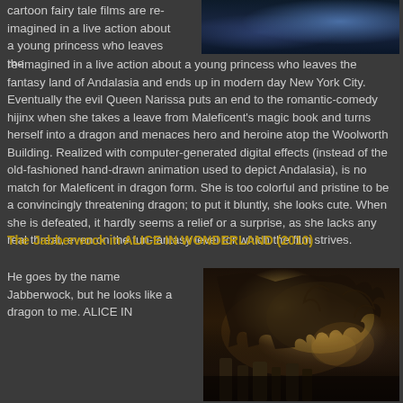cartoon fairy tale films are re-imagined in a live action about a young princess who leaves the fantasy land of Andalasia and ends up in modern day New York City. Eventually the evil Queen Narissa puts an end to the romantic-comedy hijinx when she takes a leave from Maleficent's magic book and turns herself into a dragon and menaces hero and heroine atop the Woolworth Building. Realized with computer-generated digital effects (instead of the old-fashioned hand-drawn animation used to depict Andalasia), is no match for Maleficent in dragon form. She is too colorful and pristine to be a convincingly threatening dragon; to put it bluntly, she looks cute. When she is defeated, it hardly seems a relief or a surprise, as she lacks any real threat, even on the fun-fantasy level for which the film strives.
[Figure (photo): A fantasy or sci-fi creature in a dark blue/purple cinematic scene]
The Jabberwock in ALICE IN WONDERLAND (2010)
He goes by the name Jabberwock, but he looks like a dragon to me. ALICE IN
[Figure (photo): A dark cinematic scene showing what appears to be a large dragon-like creature (Jabberwock) amid smoky, atmospheric lighting with warm amber tones, stone or rock formations visible below]